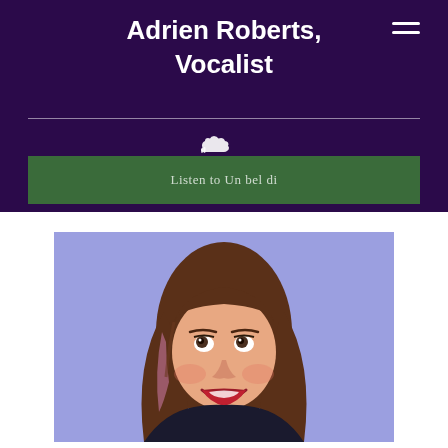Adrien Roberts, Vocalist
[Figure (other): Hamburger menu icon (three horizontal white lines) in top right corner of purple header]
[Figure (logo): SoundCloud logo (white cloud icon) centered below divider line in purple header]
Listen to Un bel di
[Figure (photo): Portrait photo of a smiling woman with long brown hair with pink highlights, wearing a dark top against a periwinkle/lavender blue background, looking upward and to the left]